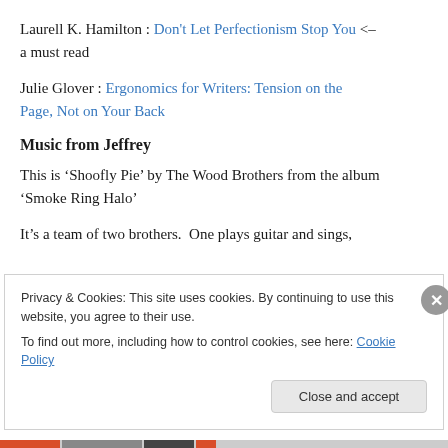Laurell K. Hamilton : Don't Let Perfectionism Stop You <- a must read
Julie Glover : Ergonomics for Writers: Tension on the Page, Not on Your Back
Music from Jeffrey
This is ‘Shoofly Pie’ by The Wood Brothers from the album ‘Smoke Ring Halo’
It’s a team of two brothers.  One plays guitar and sings,
Privacy & Cookies: This site uses cookies. By continuing to use this website, you agree to their use.
To find out more, including how to control cookies, see here: Cookie Policy